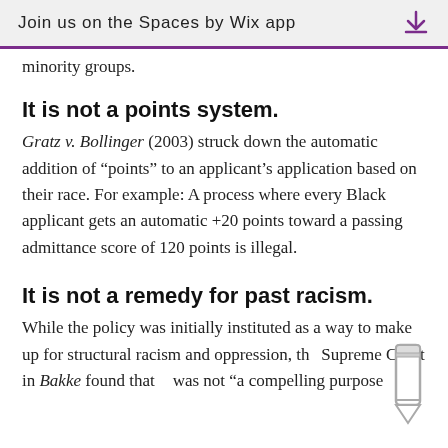Join us on the Spaces by Wix app
minority groups.
It is not a points system.
Gratz v. Bollinger (2003) struck down the automatic addition of “points” to an applicant’s application based on their race. For example: A process where every Black applicant gets an automatic +20 points toward a passing admittance score of 120 points is illegal.
It is not a remedy for past racism.
While the policy was initially instituted as a way to make up for structural racism and oppression, the Supreme Court in Bakke found that it was not “a compelling purpose